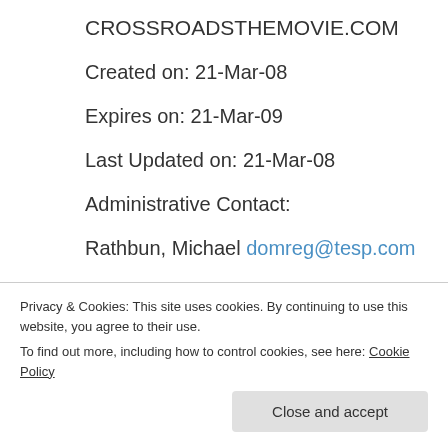CROSSROADSTHEMOVIE.COM
Created on: 21-Mar-08
Expires on: 21-Mar-09
Last Updated on: 21-Mar-08
Administrative Contact:
Rathbun, Michael domreg@tesp.com
T E S P
PO Box 1775
Frisco, Texas 75034
United States
(I've eliminated the telephone number, for
Privacy & Cookies: This site uses cookies. By continuing to use this website, you agree to their use. To find out more, including how to control cookies, see here: Cookie Policy